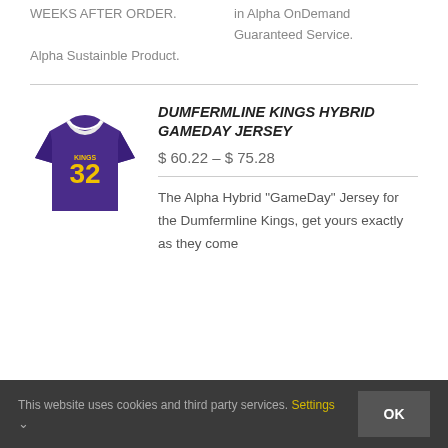WEEKS AFTER ORDER.
Alpha Sustainble Product.
in Alpha OnDemand Guaranteed Service.
DUMFERMLINE KINGS HYBRID GAMEDAY JERSEY
$ 60.22 – $ 75.28
[Figure (illustration): Purple football jersey with yellow number 32]
The Alpha Hybrid "GameDay" Jersey for the Dumfermline Kings, get yours exactly as they come
This website uses cookies and third party services. Settings